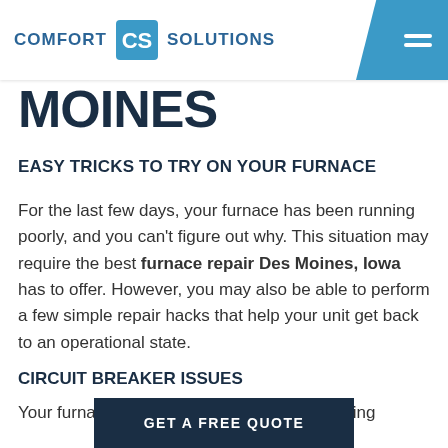COMFORT CS SOLUTIONS
MOINES
EASY TRICKS TO TRY ON YOUR FURNACE
For the last few days, your furnace has been running poorly, and you can't figure out why. This situation may require the best furnace repair Des Moines, Iowa has to offer. However, you may also be able to perform a few simple repair hacks that help your unit get back to an operational state.
CIRCUIT BREAKER ISSUES
Your furnace is producing
GET A FREE QUOTE